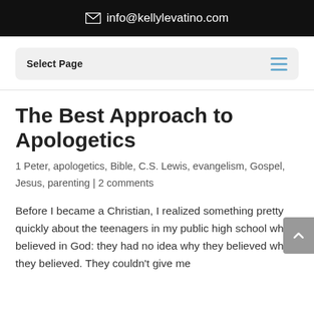✉ info@kellylevatino.com
Select Page ≡
The Best Approach to Apologetics
1 Peter, apologetics, Bible, C.S. Lewis, evangelism, Gospel, Jesus, parenting | 2 comments
Before I became a Christian, I realized something pretty quickly about the teenagers in my public high school who believed in God: they had no idea why they believed what they believed. They couldn't give me